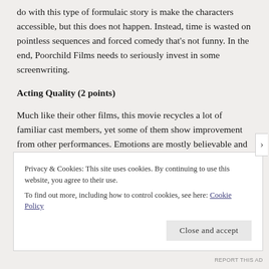do with this type of formulaic story is make the characters accessible, but this does not happen.  Instead, time is wasted on pointless sequences and forced comedy that's not funny.  In the end, Poorchild Films needs to seriously invest in some screenwriting.
Acting Quality (2 points)
Much like their other films, this movie recycles a lot of familiar cast members, yet some of them show improvement from other performances.  Emotions are mostly believable and line delivery is pretty good.  There are just some minor errors throughout that add up, as well as the dry comedy.  Overall, this film hovers right around
Privacy & Cookies: This site uses cookies. By continuing to use this website, you agree to their use.
To find out more, including how to control cookies, see here: Cookie Policy
Close and accept